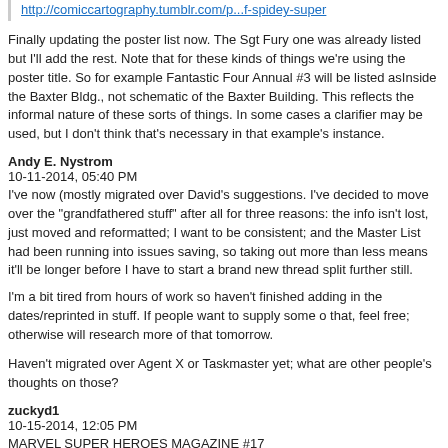http://comiccartography.tumblr.com/p...f-spidey-super
Finally updating the poster list now. The Sgt Fury one was already listed but I'll add the rest. Note that for these kinds of things we're using the poster title. So for example Fantastic Four Annual #3 will be listed asInside the Baxter Bldg., not schematic of the Baxter Building. This reflects the informal nature of these sorts of things. In some cases a clarifier may be used, but I don't think that's necessary in that example's instance.
Andy E. Nystrom
10-11-2014, 05:40 PM
I've now (mostly migrated over David's suggestions. I've decided to move over the "grandfathered stuff" after all for three reasons: the info isn't lost, just moved and reformatted; I want to be consistent; and the Master List had been running into issues saving, so taking out more than less means it'll be longer before I have to start a brand new thread split further still.
I'm a bit tired from hours of work so haven't finished adding in the dates/reprinted in stuff. If people want to supply some o that, feel free; otherwise will research more of that tomorrow.
Haven't migrated over Agent X or Taskmaster yet; what are other people's thoughts on those?
zuckyd1
10-15-2014, 12:05 PM
MARVEL SUPER HEROES MAGAZINE #17
Grandmaster 1 N